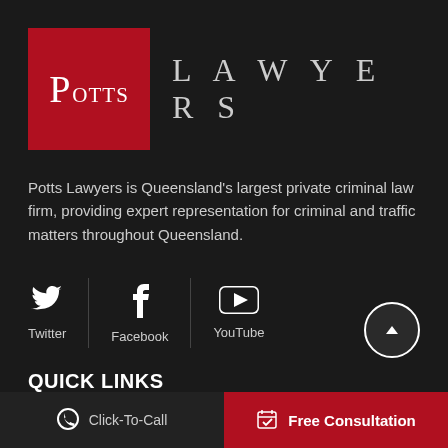[Figure (logo): Potts Lawyers logo: red square with 'POTTS' in white serif font on left, 'LAWYERS' in wide-spaced grey serif text on right]
Potts Lawyers is Queensland's largest private criminal law firm, providing expert representation for criminal and traffic matters throughout Queensland.
[Figure (infographic): Social media icons: Twitter (bird), Facebook (f), YouTube (play button) with vertical dividers and labels, and a scroll-up circular button]
QUICK LINKS
Click-To-Call | Free Consultation